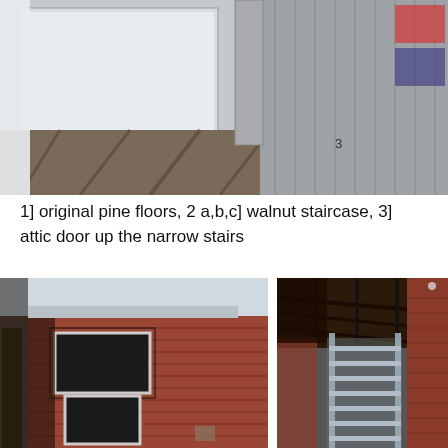[Figure (photo): Interior photo showing a narrow hallway or staircase area with white/grey vertical wood paneling walls, sunlight casting diagonal shadows on the floor. Number '3' visible in lower center. Wall-mounted framed items visible on right side.]
1] original pine floors, 2 a,b,c] walnut staircase, 3] attic door up the narrow stairs
[Figure (photo): Exterior photo of a red brick building showing fire or demolition damage, with exposed structural elements, black soot marks around windows, and partial walls visible.]
[Figure (photo): Interior photo showing a metal ladder/staircase structure inside a brick building with exposed overhead beams and ceiling joists, appearing to be under construction or renovation.]